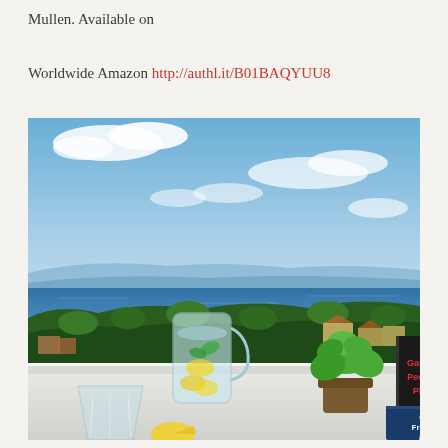Mullen. Available on
Worldwide Amazon http://authl.it/B01BAQYUU8
[Figure (photo): Outdoor terrace scene with a glass pitcher of water with lemon and mint, a potted plant, two books titled 'Games People Play' and 'Old Friends and...' on a white table, with a panoramic view of the sea, coastline, green hills, and scattered buildings under a bright blue sky with clouds.]